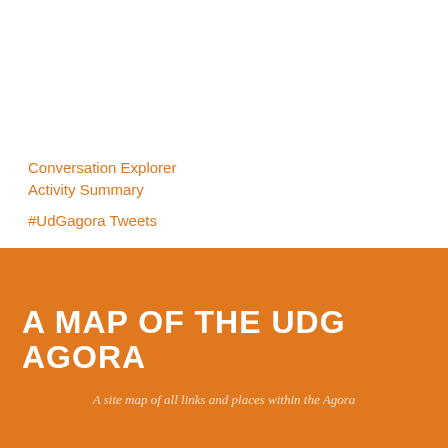[Figure (network-graph): A dense network graph / node-link diagram showing interconnected nodes representing conversations or social connections, rendered in black lines and dots on a white background]
Conversation Explorer
Activity Summary
#UdGagora Tweets
A MAP OF THE UDG AGORA
A site map of all links and places within the Agora